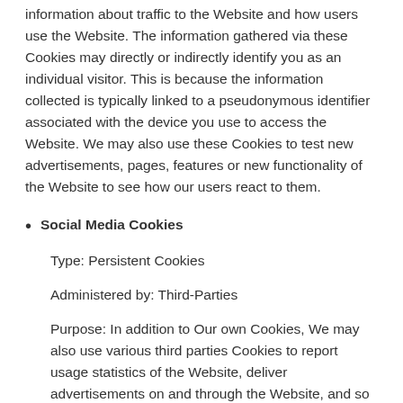information about traffic to the Website and how users use the Website. The information gathered via these Cookies may directly or indirectly identify you as an individual visitor. This is because the information collected is typically linked to a pseudonymous identifier associated with the device you use to access the Website. We may also use these Cookies to test new advertisements, pages, features or new functionality of the Website to see how our users react to them.
Social Media Cookies
Type: Persistent Cookies
Administered by: Third-Parties
Purpose: In addition to Our own Cookies, We may also use various third parties Cookies to report usage statistics of the Website, deliver advertisements on and through the Website, and so on. These Cookies may be used when You share information using a social media networking websites such as Facebook